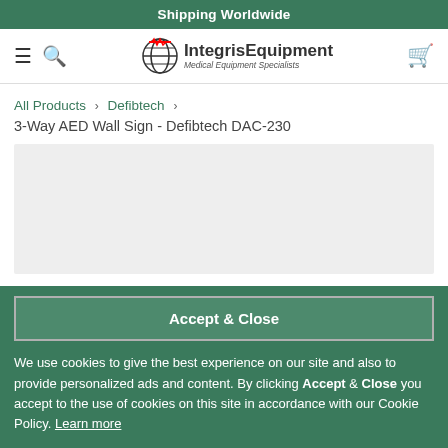Shipping Worldwide
[Figure (logo): Integris Equipment - Medical Equipment Specialists logo with globe icon]
All Products › Defibtech ›
3-Way AED Wall Sign - Defibtech DAC-230
[Figure (photo): Product image placeholder - light grey background]
Accept & Close
We use cookies to give the best experience on our site and also to provide personalized ads and content. By clicking Accept & Close you accept to the use of cookies on this site in accordance with our Cookie Policy. Learn more